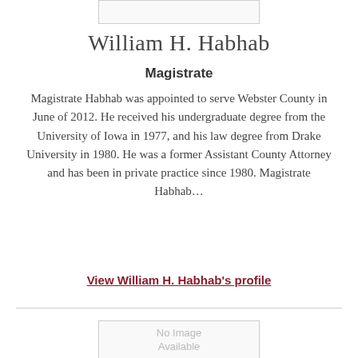[Figure (other): Placeholder image box at top, empty with border]
William H. Habhab
Magistrate
Magistrate Habhab was appointed to serve Webster County in June of 2012. He received his undergraduate degree from the University of Iowa in 1977, and his law degree from Drake University in 1980. He was a former Assistant County Attorney and has been in private practice since 1980. Magistrate Habhab...
View William H. Habhab's profile
[Figure (other): No Image Available placeholder box]